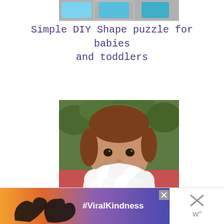[Figure (photo): Partial top view of colorful shape puzzle pieces (blue/teal) on a surface]
Simple DIY Shape puzzle for babies and toddlers
[Figure (photo): Young girl holding a handmade cotton ball Santa beard craft in front of her face, outdoors with green background]
Simple Christmas Santa Beard craft
[Figure (other): Advertisement banner: heart hands silhouette with #ViralKindness text and close buttons]